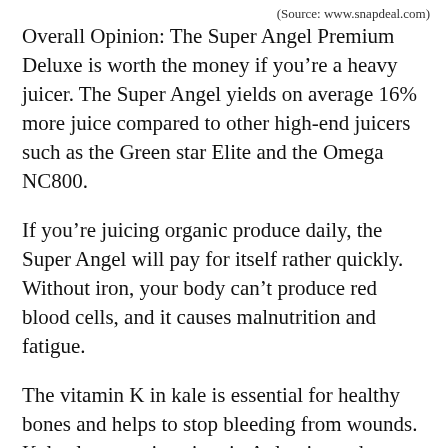(Source: www.snapdeal.com)
Overall Opinion: The Super Angel Premium Deluxe is worth the money if you’re a heavy juicer. The Super Angel yields on average 16% more juice compared to other high-end juicers such as the Green star Elite and the Omega NC800.
If you’re juicing organic produce daily, the Super Angel will pay for itself rather quickly. Without iron, your body can’t produce red blood cells, and it causes malnutrition and fatigue.
The vitamin K in kale is essential for healthy bones and helps to stop bleeding from wounds. Kale also contains vitamin A, lutein, and zeaxanthin, all which promote healthy eyes.
Your mom really was doing you a favor when she made you sit at the dinner table until you finished your broccoli. Like kale, broccoli is high in...